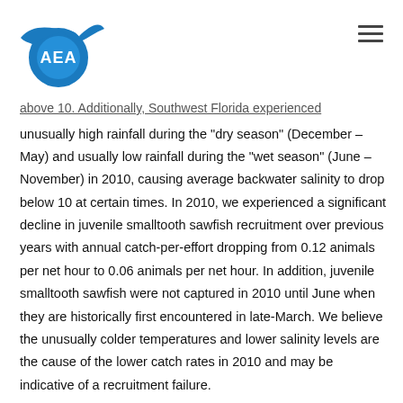AEA logo and navigation
above 10. Additionally, Southwest Florida experienced unusually high rainfall during the “dry season” (December – May) and usually low rainfall during the “wet season” (June – November) in 2010, causing average backwater salinity to drop below 10 at certain times. In 2010, we experienced a significant decline in juvenile smalltooth sawfish recruitment over previous years with annual catch-per-effort dropping from 0.12 animals per net hour to 0.06 animals per net hour. In addition, juvenile smalltooth sawfish were not captured in 2010 until June when they are historically first encountered in late-March. We believe the unusually colder temperatures and lower salinity levels are the cause of the lower catch rates in 2010 and may be indicative of a recruitment failure.